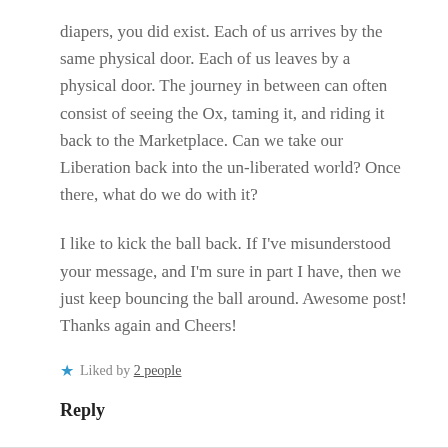diapers, you did exist. Each of us arrives by the same physical door. Each of us leaves by a physical door. The journey in between can often consist of seeing the Ox, taming it, and riding it back to the Marketplace. Can we take our Liberation back into the un-liberated world? Once there, what do we do with it?
I like to kick the ball back. If I've misunderstood your message, and I'm sure in part I have, then we just keep bouncing the ball around. Awesome post! Thanks again and Cheers!
★ Liked by 2 people
Reply